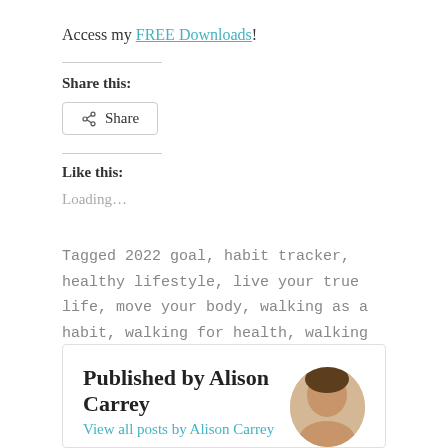Access my FREE Downloads!
Share this:
[Figure (other): Share button with share icon]
Like this:
Loading...
Tagged 2022 goal, habit tracker, healthy lifestyle, live your true life, move your body, walking as a habit, walking for health, walking goal, walking in nature, year long goal
Published by Alison Carrey
View all posts by Alison Carrey